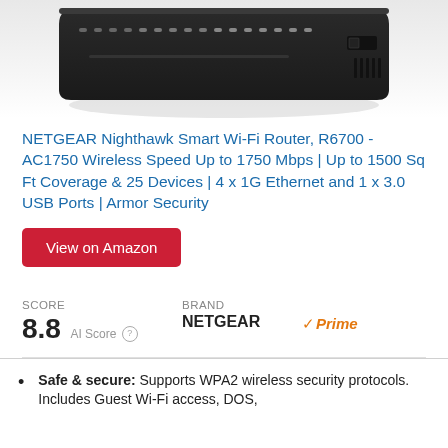[Figure (photo): Top portion of a NETGEAR Nighthawk router shown from above against a light gray/white background]
NETGEAR Nighthawk Smart Wi-Fi Router, R6700 - AC1750 Wireless Speed Up to 1750 Mbps | Up to 1500 Sq Ft Coverage & 25 Devices | 4 x 1G Ethernet and 1 x 3.0 USB Ports | Armor Security
View on Amazon
SCORE 8.8 AI Score   Brand NETGEAR   Prime
Safe & secure: Supports WPA2 wireless security protocols. Includes Guest Wi-Fi access, DOS,